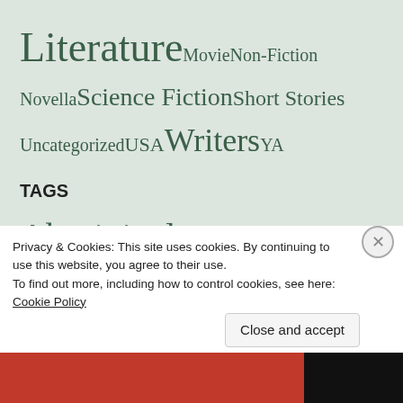Literature Movie Non-Fiction Novella Science Fiction Short Stories Uncategorized USA Writers YA
TAGS
Aboriginal Alexis Wright Anzac Day Autofiction AWW Gen 1 AWW Gen 2 AWW Gen 3 AWW Gen 4 Book Review Bulletin C21st Canada Christina Stead Christos Tsiolkas Covid-19 Crime Fiction Daisy Bates David Ireland
Privacy & Cookies: This site uses cookies. By continuing to use this website, you agree to their use.
To find out more, including how to control cookies, see here: Cookie Policy
Close and accept